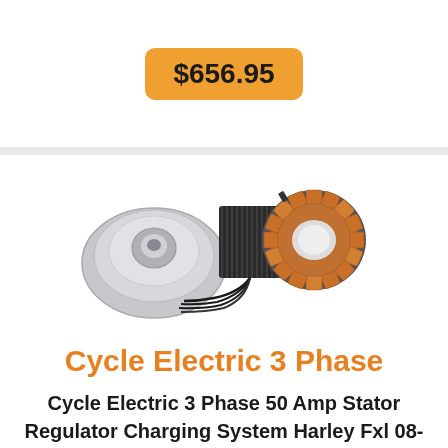$656.95
[Figure (photo): Cycle Electric 3 Phase charging system kit showing a rotor, stator, and regulator components laid out on a white background]
Cycle Electric 3 Phase
Cycle Electric 3 Phase 50 Amp Stator Regulator Charging System Harley Fxl 08-11